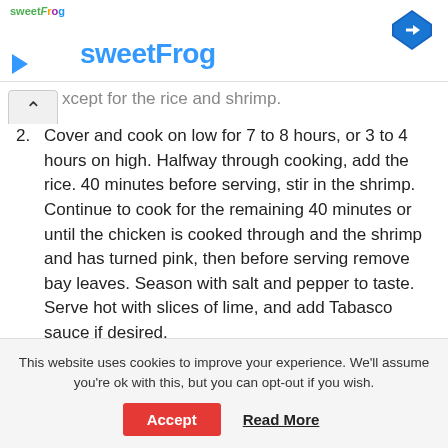sweetFrog
xcept for the rice and shrimp.
2. Cover and cook on low for 7 to 8 hours, or 3 to 4 hours on high. Halfway through cooking, add the rice. 40 minutes before serving, stir in the shrimp. Continue to cook for the remaining 40 minutes or until the chicken is cooked through and the shrimp and has turned pink, then before serving remove bay leaves. Season with salt and pepper to taste. Serve hot with slices of lime, and add Tabasco sauce if desired.
This website uses cookies to improve your experience. We'll assume you're ok with this, but you can opt-out if you wish.
Accept   Read More